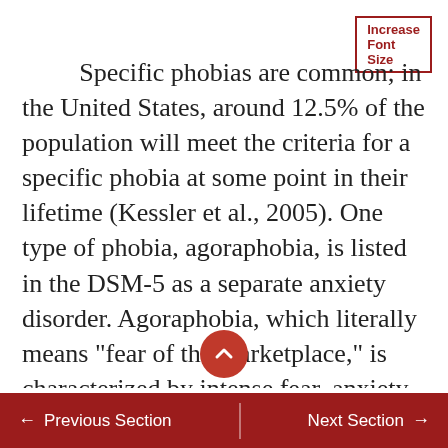Increase Font Size
Specific phobias are common; in the United States, around 12.5% of the population will meet the criteria for a specific phobia at some point in their lifetime (Kessler et al., 2005). One type of phobia, agoraphobia, is listed in the DSM-5 as a separate anxiety disorder. Agoraphobia, which literally means “fear of the marketplace,” is characterized by intense fear, anxiety, and avoidance of situations in which it might be difficult to escape or receive help if one experiences symptoms of a panic attack (a state of extreme anxiety that we will discuss shortly). These situations include public
← Previous Section   Next Section →